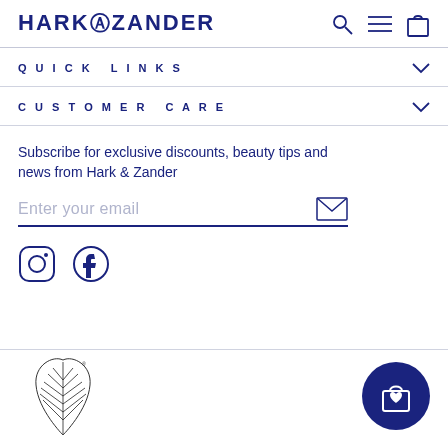HARK & ZANDER
QUICK LINKS
CUSTOMER CARE
Subscribe for exclusive discounts, beauty tips and news from Hark & Zander
Enter your email
[Figure (infographic): Instagram and Facebook social media icons]
[Figure (logo): New Zealand silver fern logo]
[Figure (infographic): Shopping bag with heart icon in dark navy circle button]